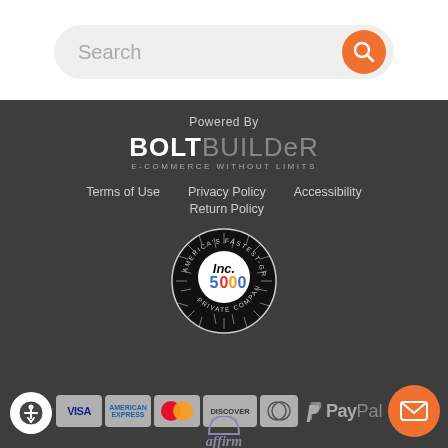Search
Powered By
[Figure (logo): BoltBuilder logo with text BOLTBUILDER and tagline E-COMMERCE WITHOUT LIMITS]
Terms of Use
Privacy Policy
Return Policy
Accessibility
[Figure (logo): Inc. 5000 America's Fastest-Growing Private Companies badge]
[Figure (infographic): Payment method logos: Visa, American Express, Mastercard, Discover, Diners Club, PayPal, Affirm]
Accessibility button and mail contact button